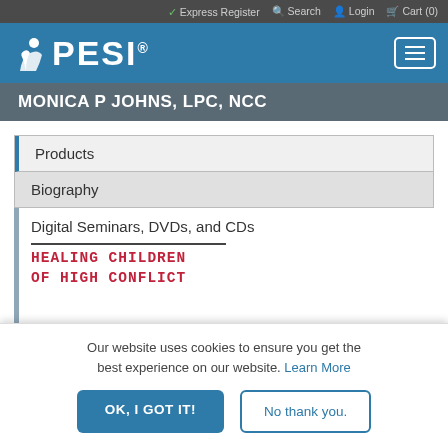✓ Express Register  🔍 Search  👤 Login  🛒 Cart (0)
[Figure (logo): PESI logo with figure icon and registered trademark on blue background]
MONICA P JOHNS, LPC, NCC
Products
Biography
Digital Seminars, DVDs, and CDs
HEALING CHILDREN OF HIGH CONFLICT
Our website uses cookies to ensure you get the best experience on our website. Learn More
OK, I GOT IT!
No thank you.